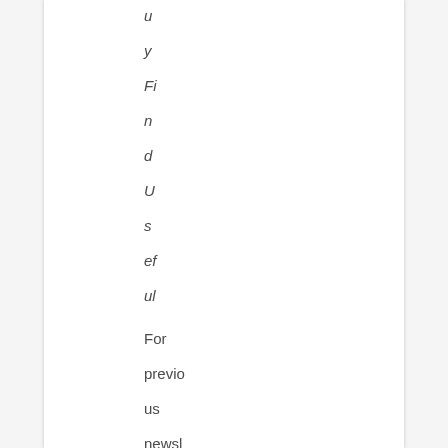y Fi n d Us ef ul For previous newsletters, resources, and